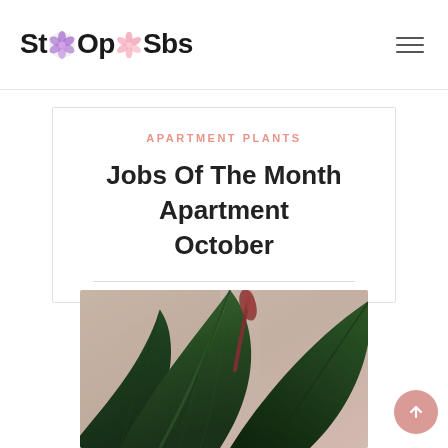StOp Sbs
APARTMENT PLANTS
Jobs Of The Month Apartment October
[Figure (photo): Close-up photograph of dark green tropical plant leaves, likely a rubber plant (Ficus elastica), with a new reddish bud emerging, soft blurred background]